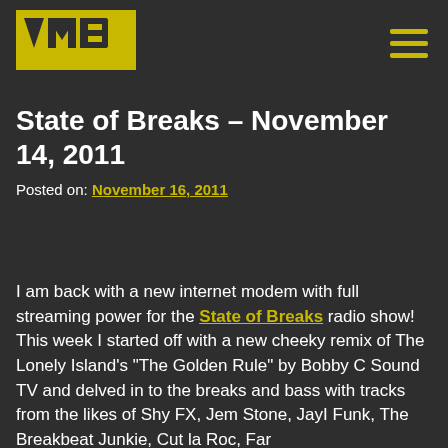VMB logo and navigation menu
State of Breaks – November 14, 2011
Posted on: November 16, 2011
I am back with a new internet modem with full streaming power for the State of Breaks radio show! This week I started off with a new cheeky remix of The Lonely Island's "The Golden Rule" by Bobby C Sound TV and delved in to the breaks and bass with tracks from the likes of Shy FX, Jem Stone, JayI Funk, The Breakbeat Junkie, Cut la Roc, Far